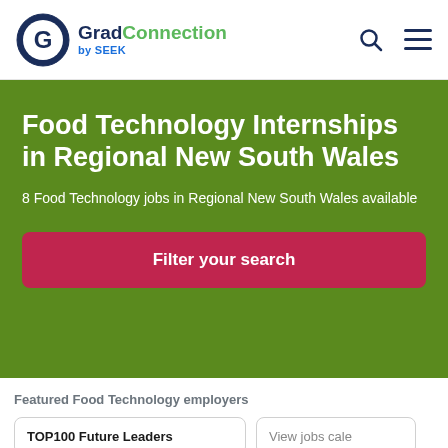[Figure (logo): GradConnection by SEEK logo with circular G icon]
Food Technology Internships in Regional New South Wales
8 Food Technology jobs in Regional New South Wales available
Filter your search
Featured Food Technology employers
TOP100 Future Leaders
View jobs cale